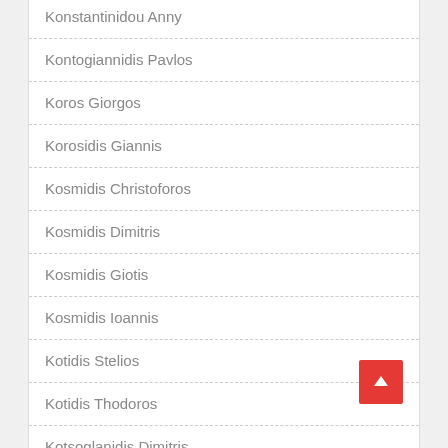Konstantinidou Anny
Kontogiannidis Pavlos
Koros Giorgos
Korosidis Giannis
Kosmidis Christoforos
Kosmidis Dimitris
Kosmidis Giotis
Kosmidis Ioannis
Kotidis Stelios
Kotidis Thodoros
Kotsoglanidis Dimitris
Kottaridis Nikos
Kottaridis Tasos